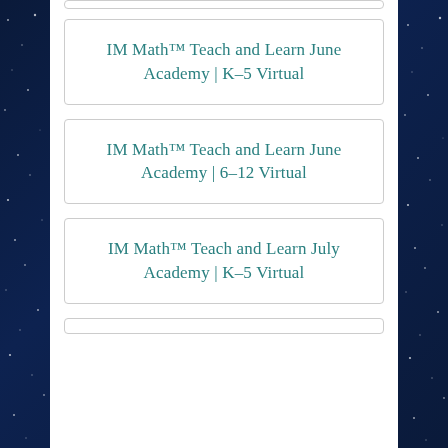IM Math™ Teach and Learn June Academy | K–5 Virtual
IM Math™ Teach and Learn June Academy | 6–12 Virtual
IM Math™ Teach and Learn July Academy | K–5 Virtual